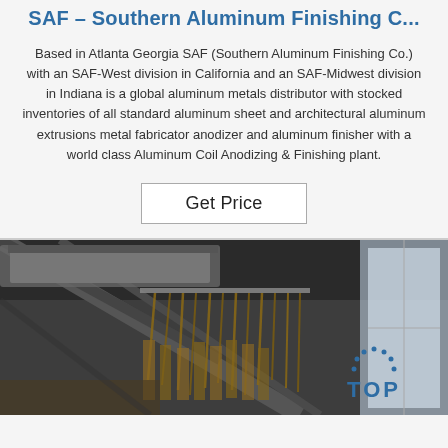SAF – Southern Aluminum Finishing C...
Based in Atlanta Georgia SAF (Southern Aluminum Finishing Co.) with an SAF-West division in California and an SAF-Midwest division in Indiana is a global aluminum metals distributor with stocked inventories of all standard aluminum sheet and architectural aluminum extrusions metal fabricator anodizer and aluminum finisher with a world class Aluminum Coil Anodizing & Finishing plant.
Get Price
[Figure (photo): Industrial photo of an aluminum anodizing or finishing plant interior, showing metal parts hanging from overhead racks in a large warehouse-type facility with a bright window on the right side. A blue 'TOP' badge with dots arranged in an arc appears in the lower right corner.]